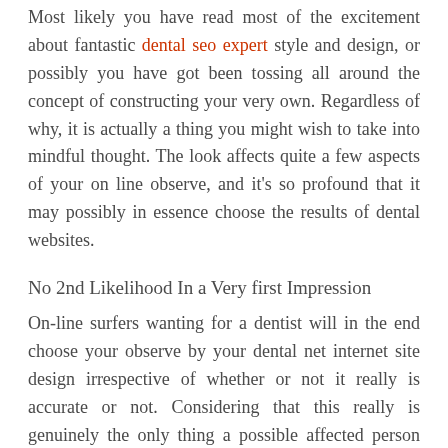Most likely you have read most of the excitement about fantastic dental seo expert style and design, or possibly you have got been tossing all around the concept of constructing your very own. Regardless of why, it is actually a thing you might wish to take into mindful thought. The look affects quite a few aspects of your on line observe, and it's so profound that it may possibly in essence choose the results of dental websites.
No 2nd Likelihood In a Very first Impression
On-line surfers wanting for a dentist will in the end choose your observe by your dental net internet site design irrespective of whether or not it really is accurate or not. Considering that this really is genuinely the only thing a possible affected person should decide your follow, it is smart. The most productive workplaces during the region could effortlessly be forgotten if their dental web pages don't reflect that. The other is true at